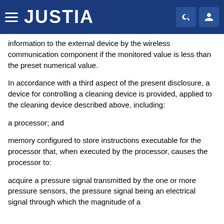JUSTIA
information to the external device by the wireless communication component if the monitored value is less than the preset numerical value.
In accordance with a third aspect of the present disclosure, a device for controlling a cleaning device is provided, applied to the cleaning device described above, including:
a processor; and
memory configured to store instructions executable for the processor that, when executed by the processor, causes the processor to:
acquire a pressure signal transmitted by the one or more pressure sensors, the pressure signal being an electrical signal through which the magnitude of a